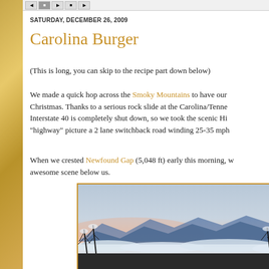navigation bar
SATURDAY, DECEMBER 26, 2009
Carolina Burger
(This is long, you can skip to the recipe part down below)
We made a quick hop across the Smoky Mountains to have our Christmas. Thanks to a serious rock slide at the Carolina/Tenne... Interstate 40 is completely shut down, so we took the scenic Hi... "highway" picture a 2 lane switchback road winding 25-35 mph
When we crested Newfound Gap (5,048 ft) early this morning, w... awesome scene below us.
[Figure (photo): Mountain landscape view from Newfound Gap showing snow-covered trees in foreground, blue mountain ridges in background, and a sea of clouds in the valley below at dawn/dusk with pink and blue sky.]